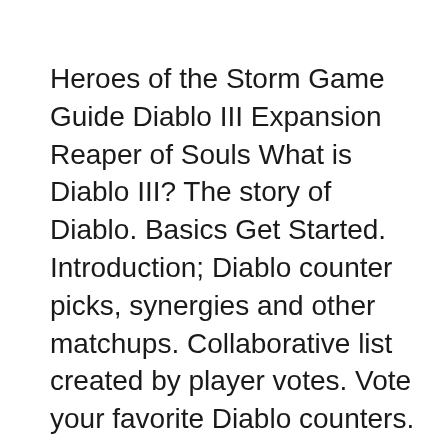Heroes of the Storm Game Guide Diablo III Expansion Reaper of Souls What is Diablo III? The story of Diablo. Basics Get Started. Introduction; Diablo counter picks, synergies and other matchups. Collaborative list created by player votes. Vote your favorite Diablo counters.
As part of the (massive) Heroes 2.0 changes that introduce loot boxes, Blizzard are also releasing multiple new characters, the first of which is Cassia. She's based 2018-09-07 · Diablo's default skin in Heroes of the Storm